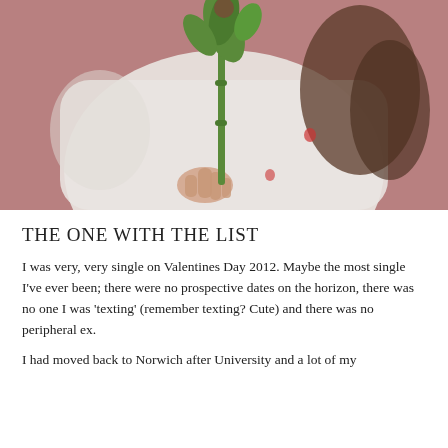[Figure (photo): A blurred close-up photo of a person in a white top holding a single rose stem with green leaves, against a muted rose-pink background. The person's face is not visible, only their torso, hand, and dark wavy hair partially visible.]
THE ONE WITH THE LIST
I was very, very single on Valentines Day 2012. Maybe the most single I've ever been; there were no prospective dates on the horizon, there was no one I was 'texting' (remember texting? Cute) and there was no peripheral ex.
I had moved back to Norwich after University and a lot of my friends for...